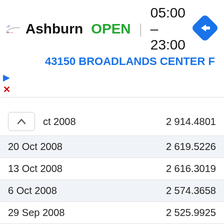[Figure (screenshot): LA Fitness advertisement banner showing Ashburn location, OPEN status, hours 05:00-23:00, address 43150 BROADLANDS CENTER F, with navigation icon]
| Date | Value |
| --- | --- |
| Oct 2008 | 2 914.4801 |
| 20 Oct 2008 | 2 619.5226 |
| 13 Oct 2008 | 2 616.3019 |
| 6 Oct 2008 | 2 574.3658 |
| 29 Sep 2008 | 2 525.9925 |
| 22 Sep 2008 | 2 474.9843 |
| 15 Sep 2008 | 2 518.6379 |
| 8 Sep 2008 | 2 488.4381 |
| 1 Sep 2008 | 2 443.3251 |
| 25 Aug 2008 | 2 443.3214 |
| 18 Aug 2008 | 2 449.2202 |